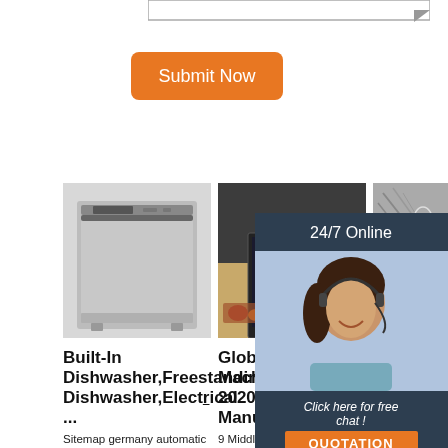[Figure (screenshot): Bottom edge of a textarea input box at the top of the page]
[Figure (illustration): Orange 'Submit Now' button]
[Figure (photo): Built-in stainless steel dishwasher product photo]
[Figure (photo): Dishwasher in a kitchen setting with dishes and vegetables]
[Figure (photo): Closeup of dishes/glass racks inside dishwasher]
Built-In Dishwasher,Freestanding Dishwasher,Electrical ...
Sitemap germany automatic front loading washing machine premium 9kg with long service life factory
Global Washing Machines Market 2020 By Manufacturers
9 Middle East and Africa Washing Machines by Countries 9.1 Middle East and Africa Washing Machines Sales, Revenue and
Laundry Machine Manufacturers And Washing Machine ...
Taizhou Haifeng Machinery Manufacturing co, . Ltd, which is located in the economic development zone, produce washing
[Figure (infographic): Chat support overlay panel with '24/7 Online' label, female agent photo, 'Click here for free chat!' text, and orange QUOTATION button]